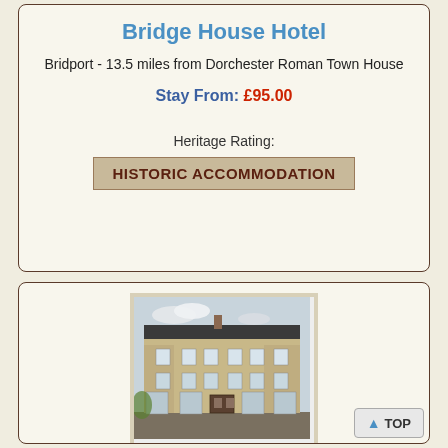Bridge House Hotel
Bridport - 13.5 miles from Dorchester Roman Town House
Stay From: £95.00
Heritage Rating:
HISTORIC ACCOMMODATION
[Figure (photo): Photograph of Bridge House Hotel, a multi-storey stone building with many windows, bay windows on the ground floor, and a flat roof section.]